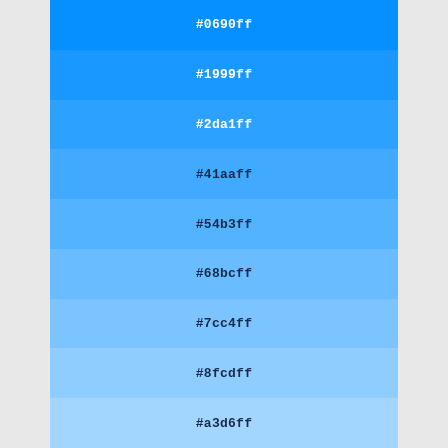[Figure (infographic): Color palette swatches showing a gradient of blue shades from dark to light, each labeled with its hex color code: #0690ff, #1999ff, #2da1ff, #41aaff, #54b3ff, #68bcff, #7cc4ff, #8fcdff, #a3d6ff]